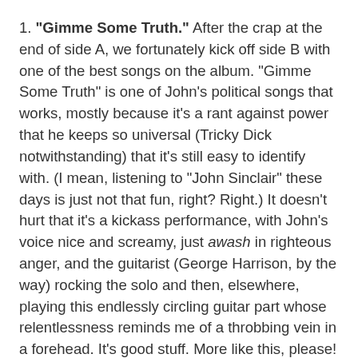1. "Gimme Some Truth." After the crap at the end of side A, we fortunately kick off side B with one of the best songs on the album. "Gimme Some Truth" is one of John's political songs that works, mostly because it's a rant against power that he keeps so universal (Tricky Dick notwithstanding) that it's still easy to identify with. (I mean, listening to "John Sinclair" these days is just not that fun, right? Right.) It doesn't hurt that it's a kickass performance, with John's voice nice and screamy, just awash in righteous anger, and the guitarist (George Harrison, by the way) rocking the solo and then, elsewhere, playing this endlessly circling guitar part whose relentlessness reminds me of a throbbing vein in a forehead. It's good stuff. More like this, please!
2. "Oh My Love." Well, we clearly won't be getting more like that, because instead we get "Oh My Love." Opinions differ on this one. Is the lazy, static feel here beautiful, or dull as toast? I side more in the latter category. As ballads go, "Jealous Guy" is about ten trillion times as cool for me. I will give some props to the piano part at the close, which is produced in a "Jealous Guy" kind of way but now sounds